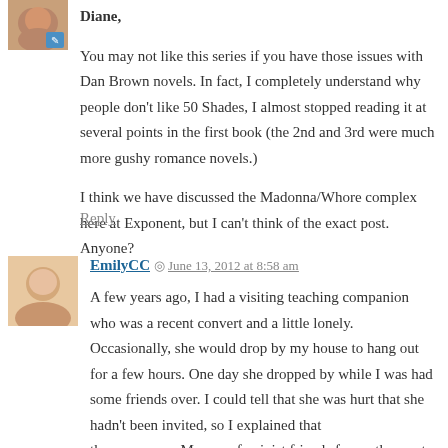[Figure (photo): Small avatar photo of a person, with a blue edit/pencil icon overlay in the bottom-right corner]
Diane,

You may not like this series if you have those issues with Dan Brown novels. In fact, I completely understand why people don't like 50 Shades, I almost stopped reading it at several points in the first book (the 2nd and 3rd were much more gushy romance novels.)

I think we have discussed the Madonna/Whore complex here at Exponent, but I can't think of the exact post. Anyone?
Reply
[Figure (photo): Small circular avatar photo of EmilyCC, a woman with light skin and dark hair]
EmilyCC  June 13, 2012 at 8:58 am
A few years ago, I had a visiting teaching companion who was a recent convert and a little lonely. Occasionally, she would drop by my house to hang out for a few hours. One day she dropped by while I was had some friends over. I could tell that she was hurt that she hadn't been invited, so I explained that these were my Mormon feminist friends from other parts of